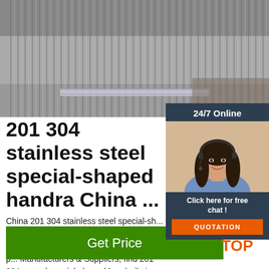[Figure (photo): Bundle of stainless steel pipes/tubes stacked together, viewed from the end showing circular cross-sections, with a metal band/label visible]
[Figure (photo): Customer service agent - woman with headset smiling, shown in a dark blue chat widget box labeled '24/7 Online' with 'Click here for free chat!' text and orange QUOTATION button]
201 304 stainless steel special-shaped handra China ...
China 201 304 stainless steel special-shaped handrail pipe with High-Quality, Leading stainless steel special-shaped handrail pipe Manufacturers & Suppliers, find 201 304 steel special-shaped handrail pipe Factory & Exporters.
[Figure (other): Green 'Get Price' button]
[Figure (logo): Orange TOP badge/icon with dots arranged in triangle above the word TOP]